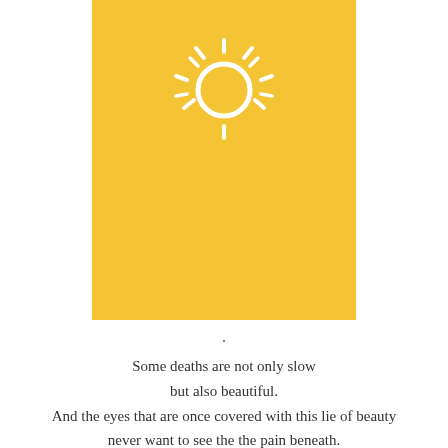[Figure (illustration): A yellow rectangular block with a white sun icon (circle with radiating rays) centered near the top of the rectangle.]
.
Some deaths are not only slow
but also beautiful.
And the eyes that are once covered with this lie of beauty
never want to see the the pain beneath.
We can accept the pain as fact, or even as a myth.